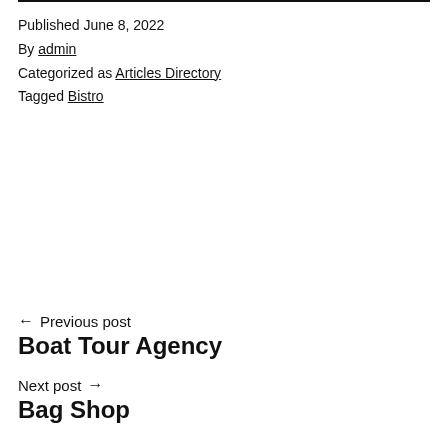Published June 8, 2022
By admin
Categorized as Articles Directory
Tagged Bistro
← Previous post
Boat Tour Agency
Next post →
Bag Shop